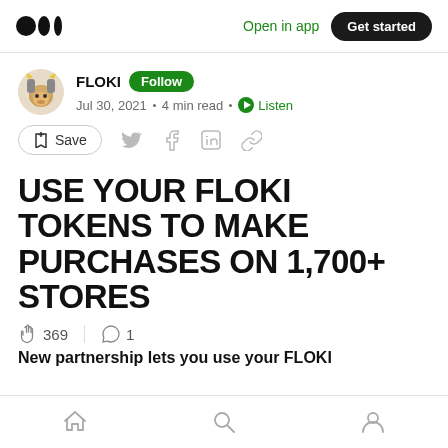Medium — Open in app | Get started
FLOKI · Follow
Jul 30, 2021 · 4 min read · Listen
Save (bookmark icon, Twitter, Facebook, LinkedIn, Link icons)
USE YOUR FLOKI TOKENS TO MAKE PURCHASES ON 1,700+ STORES
👏 369 | 💬 1
New partnership lets you use your FLOKI
Home | Search | Profile (bottom navigation)